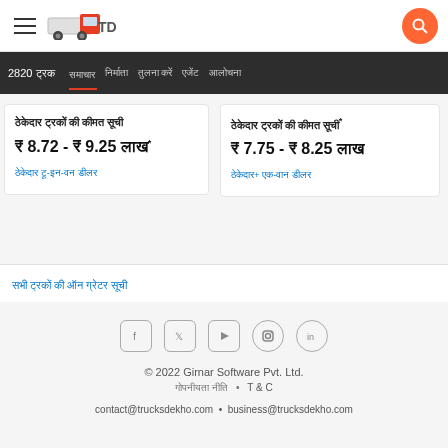TrucksDekho header with hamburger menu, logo, and search button
2820 ट्रक समाचार निर्माता एजेंट आलोचना कार्गो ब्रांड
ठेकेदार ट्रकों की कीमत सूची ₹ 8.72 - ₹ 9.25 लाख* ठेकेदार+ एक-वान डीलर
ठेकेदार ट्रकों की कीमत सूची ₹ 7.75 - ₹ 8.25 लाख ठेकेदार+ एक-वान डीलर
सभी ट्रकों की औन ग्रेटर सूची
© 2022 Girnar Software Pvt. Ltd. गोपनीयता नीति • T & C contact@trucksdekho.com • business@trucksdekho.com